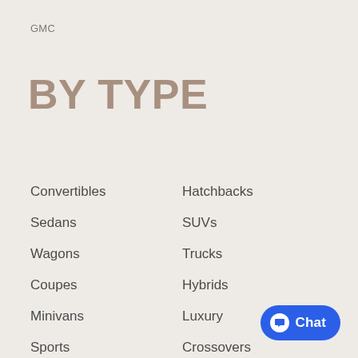GMC
BY TYPE
Convertibles
Hatchbacks
Sedans
SUVs
Wagons
Trucks
Coupes
Hybrids
Minivans
Luxury
Sports
Crossovers